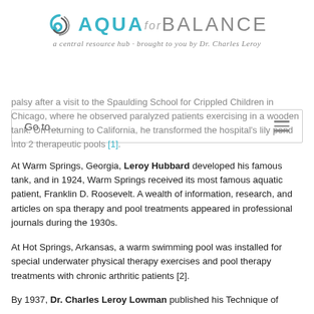AQUA for BALANCE
Go to...
palsy after a visit to the Spaulding School for Crippled Children in Chicago, where he observed paralyzed patients exercising in a wooden tank. On returning to California, he transformed the hospital's lily pond into 2 therapeutic pools [1].
At Warm Springs, Georgia, Leroy Hubbard developed his famous tank, and in 1924, Warm Springs received its most famous aquatic patient, Franklin D. Roosevelt. A wealth of information, research, and articles on spa therapy and pool treatments appeared in professional journals during the 1930s.
At Hot Springs, Arkansas, a warm swimming pool was installed for special underwater physical therapy exercises and pool therapy treatments with chronic arthritic patients [2].
By 1937, Dr. Charles Leroy Lowman published his Technique of